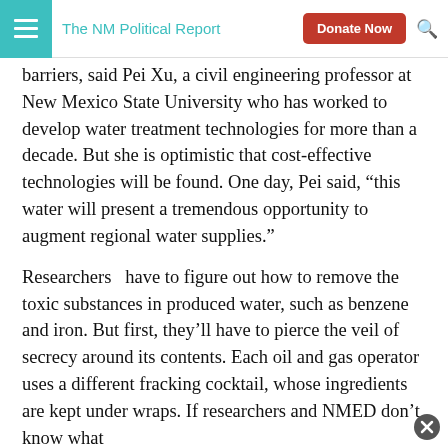The NM Political Report | Donate Now
barriers, said Pei Xu, a civil engineering professor at New Mexico State University who has worked to develop water treatment technologies for more than a decade. But she is optimistic that cost-effective technologies will be found. One day, Pei said, “this water will present a tremendous opportunity to augment regional water supplies.”
Researchers  have to figure out how to remove the toxic substances in produced water, such as benzene and iron. But first, they’ll have to pierce the veil of secrecy around its contents. Each oil and gas operator uses a different fracking cocktail, whose ingredients are kept under wraps. If researchers and NMED don’t know what